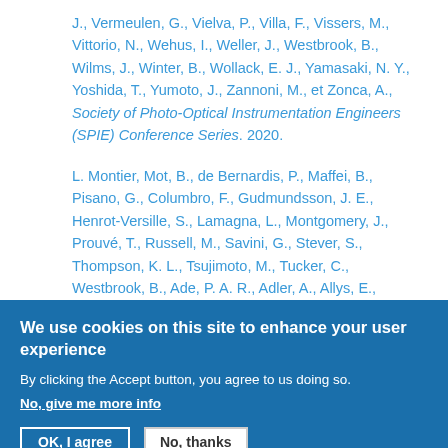J., Vermeulen, G., Vielva, P., Villa, F., Vissers, M., Vittorio, N., Wehus, I., Weller, J., Westbrook, B., Wilms, J., Winter, B., Wollack, E. J., Yamasaki, N. Y., Yoshida, T., Yumoto, J., Zannoni, M., et Zonca, A., Society of Photo-Optical Instrumentation Engineers (SPIE) Conference Series. 2020.
L. Montier, Mot, B., de Bernardis, P., Maffei, B., Pisano, G., Columbro, F., Gudmundsson, J. E., Henrot-Versille, S., Lamagna, L., Montgomery, J., Prouvé, T., Russell, M., Savini, G., Stever, S., Thompson, K. L., Tsujimoto, M., Tucker, C., Westbrook, B., Ade, P. A. R., Adler, A., Allys, E., Arnold, K., Auguste, D., Aumont, J., Aurlien, R., Austermann, J., Baccigalupi, C., Banday, A. J.,
We use cookies on this site to enhance your user experience
By clicking the Accept button, you agree to us doing so.
No, give me more info